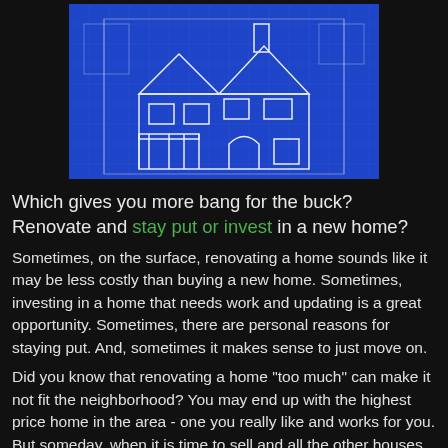[Figure (illustration): Blueprint-style architectural drawing of a two-story house on a blue background with white line art]
Which gives you more bang for the buck? Renovate and stay put or invest in a new home?
Sometimes, on the surface, renovating a home sounds like it may be less costly than buying a new home. Sometimes, investing in a home that needs work and updating is a great opportunity. Sometimes, there are personal reasons for staying put. And, sometimes it makes sense to just move on.
Did you know that renovating a home "too much" can make it not fit the neighborhood? You may end up with the highest price home in the area - one you really like and works for you. But someday, when it is time to sell and all the other houses in the neighborhood list for far less, you are likely